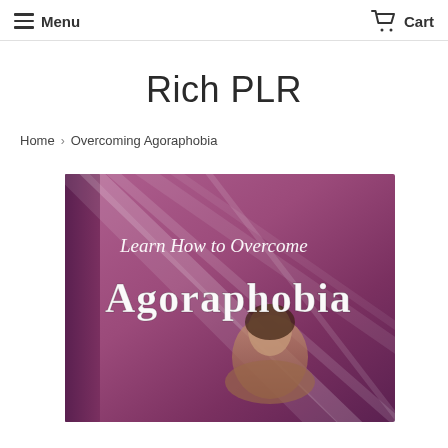Menu | Cart
Rich PLR
Home › Overcoming Agoraphobia
[Figure (illustration): Book cover for 'Overcoming Agoraphobia' showing a book titled 'Learn How to Overcome Agoraphobia' with a purple/pink background with light streaks and a person with head down on the cover.]